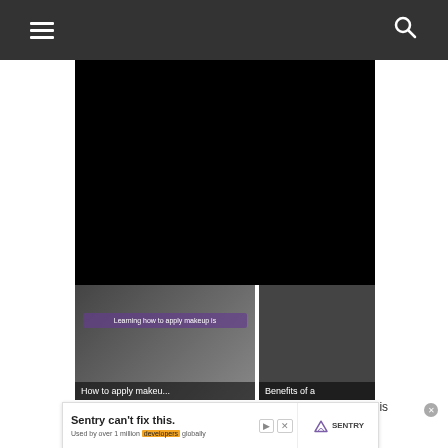Navigation bar with hamburger menu and search icon
[Figure (screenshot): Black video player rectangle (main content area)]
[Figure (screenshot): Thumbnail: How to apply makeu... - shows makeup brushes on dark background with purple overlay text]
[Figure (screenshot): Thumbnail: Benefits of a... - dark thumbnail partially visible]
Benefits of manicure
No media source was found for this media.
[Figure (screenshot): Advertisement banner: Sentry can't fix this. Used by over 1 million developers globally]